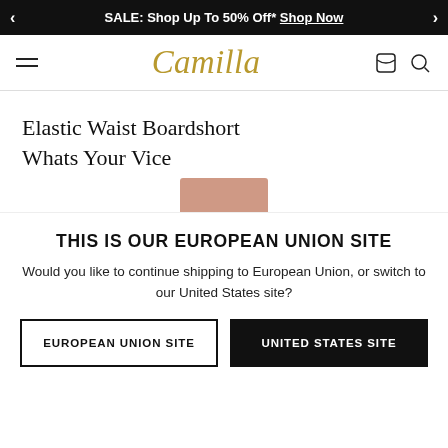SALE: Shop Up To 50% Off* Shop Now
[Figure (logo): Camilla brand logo in gold italic script font with hamburger menu icon on left and bag/search icons on right]
Elastic Waist Boardshort
Whats Your Vice
THIS IS OUR EUROPEAN UNION SITE
Would you like to continue shipping to European Union, or switch to our United States site?
EUROPEAN UNION SITE
UNITED STATES SITE